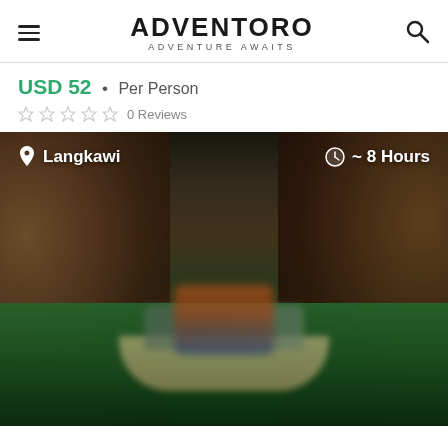ADVENTORO
ADVENTURE AWAITS
USD 52 • Per Person
0 Reviews
[Figure (photo): A blurry photo of a boat with people inside a cave, with green water below. Overlaid text shows location 'Langkawi' and duration '~ 8 Hours'.]